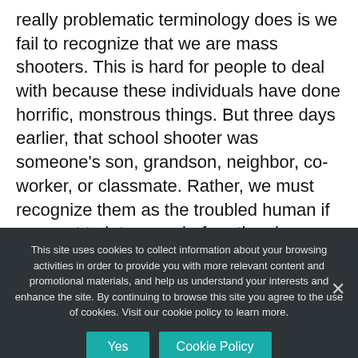really problematic terminology does is we fail to recognize that we are mass shooters. This is hard for people to deal with because these individuals have done horrific, monstrous things. But three days earlier, that school shooter was someone's son, grandson, neighbor, co-worker, or classmate. Rather, we must recognize them as the troubled human if we want to intervene before they become the monster.
This site uses cookies to collect information about your browsing activities in order to provide you with more relevant content and promotional materials, and help us understand your interests and enhance the site. By continuing to browse this site you agree to the use of cookies. Visit our cookie policy to learn more.